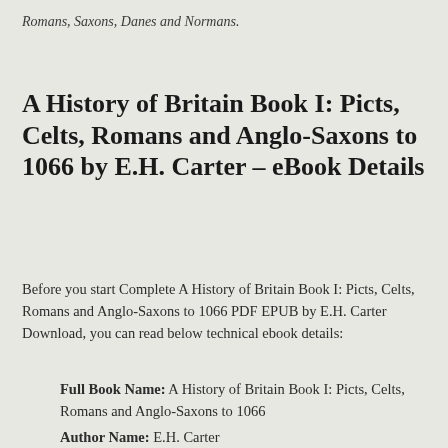Romans, Saxons, Danes and Normans.
A History of Britain Book I: Picts, Celts, Romans and Anglo-Saxons to 1066 by E.H. Carter – eBook Details
Before you start Complete A History of Britain Book I: Picts, Celts, Romans and Anglo-Saxons to 1066 PDF EPUB by E.H. Carter Download, you can read below technical ebook details:
Full Book Name: A History of Britain Book I: Picts, Celts, Romans and Anglo-Saxons to 1066
Author Name: E.H. Carter